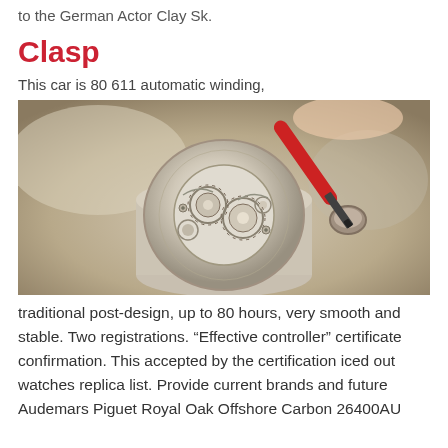to the German Actor Clay Sk.
Clasp
This car is 80 611 automatic winding,
[Figure (photo): Close-up macro photograph of a watch movement being worked on with a red screwdriver tool. The intricate gears, springs, and mechanical components of the watch caliber are visible on a cylindrical holder against a blurred beige background.]
traditional post-design, up to 80 hours, very smooth and stable. Two registrations. “Effective controller” certificate confirmation. This accepted by the certification iced out watches replica list. Provide current brands and future Audemars Piguet Royal Oak Offshore Carbon 26400AU